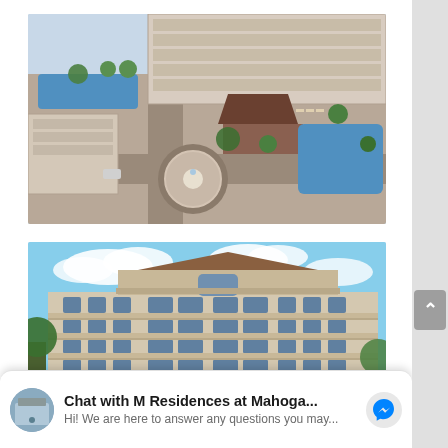[Figure (photo): Aerial view of M Residences at Mahogany Place condominium complex showing swimming pools, fountain roundabout, clubhouse with dark roof, green landscaping, and multi-storey residential buildings]
[Figure (photo): Street-level rendering of M Residences at Mahogany Place showing a multi-storey condominium building facade with colonial-style architecture, balconies, large windows, and blue sky with clouds]
Chat with M Residences at Mahoga...
Hi! We are here to answer any questions you may...